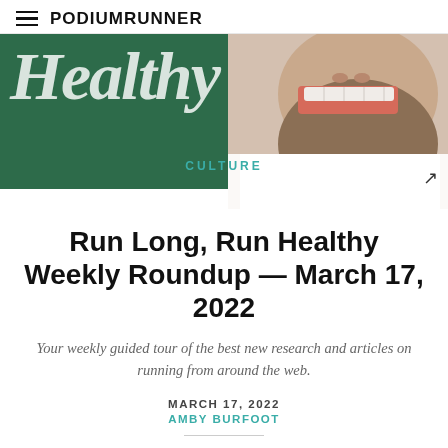PodiumRunner
[Figure (photo): Hero image showing a close-up of a bearded man's smiling face on the right side, with a dark green block on the left overlaid with large italic white text reading 'Healthy'. Below the green block is a white rectangle with the category label 'CULTURE' in teal uppercase letters centered across the image area.]
Run Long, Run Healthy Weekly Roundup — March 17, 2022
Your weekly guided tour of the best new research and articles on running from around the web.
MARCH 17, 2022
AMBY BURFOOT